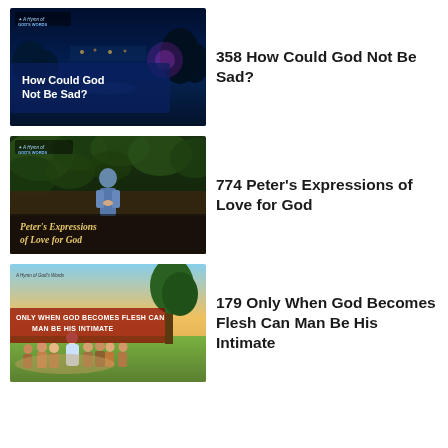[Figure (screenshot): Thumbnail for '358 How Could God Not Be Sad?' — dark blue night scene with lake and path, white bold text on blue overlay reading 'How Could God Not Be Sad?', small logo top-left reading 'A Hymn of GOD'S WORDS']
358 How Could God Not Be Sad?
[Figure (screenshot): Thumbnail for '774 Peter's Expressions of Love for God' — green garden/vine wall with person standing, gold serif bold text 'Peter's Expressions of Love for God', small logo top-left reading 'A Hymn of GOD'S WORDS']
774 Peter's Expressions of Love for God
[Figure (screenshot): Thumbnail for '179 Only When God Becomes Flesh Can Man Be His Intimate' — outdoor scene with group of people sitting around Jesus figure, red bold text 'ONLY WHEN GOD BECOMES FLESH CAN MAN BE HIS INTIMATE', small logo top-left 'A Hymn of God's Words']
179 Only When God Becomes Flesh Can Man Be His Intimate